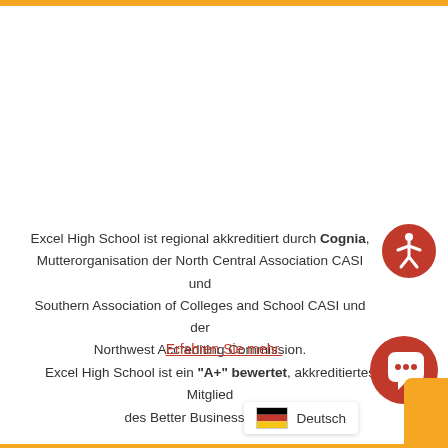Excel High School ist regional akkreditiert durch Cognia, Mutterorganisation der North Central Association CASI und Southern Association of Colleges and School CASI und der Northwest Accrediting Commission.
Erfahren Sie mehr.
Excel High School ist ein "A+" bewertet, akkreditiertes Mitglied des Better Business Bureau.
[Figure (illustration): Red circular accessibility icon with white person figure]
[Figure (illustration): Red circular chat/message bubble icon]
[Figure (illustration): German flag with language selector showing Deutsch]